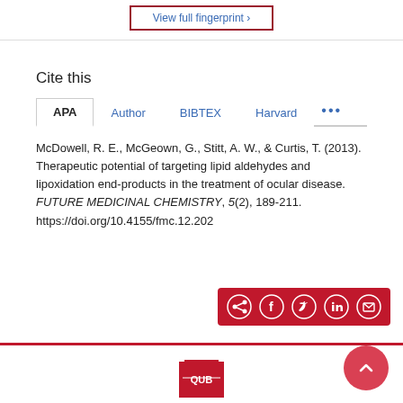View full fingerprint ›
Cite this
APA | Author | BIBTEX | Harvard | ...
McDowell, R. E., McGeown, G., Stitt, A. W., & Curtis, T. (2013). Therapeutic potential of targeting lipid aldehydes and lipoxidation end-products in the treatment of ocular disease. FUTURE MEDICINAL CHEMISTRY, 5(2), 189-211. https://doi.org/10.4155/fmc.12.202
[Figure (infographic): Social share bar with icons for share, Facebook, Twitter, LinkedIn, and email on a red background]
[Figure (logo): Queen's University Belfast logo at bottom center]